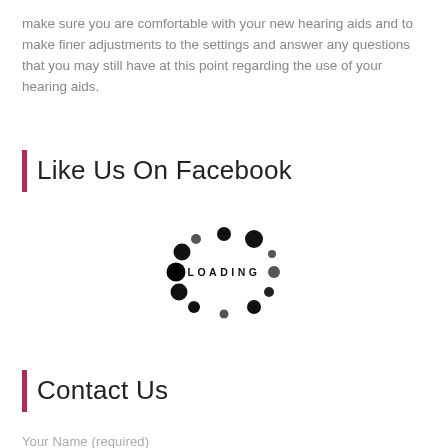make sure you are comfortable with your new hearing aids and to make finer adjustments to the settings and answer any questions that you may still have at this point regarding the use of your hearing aids.
Like Us On Facebook
[Figure (other): Loading spinner animation with dots arranged in a circle and the word LOADING in the center]
Contact Us
Your Name (required)